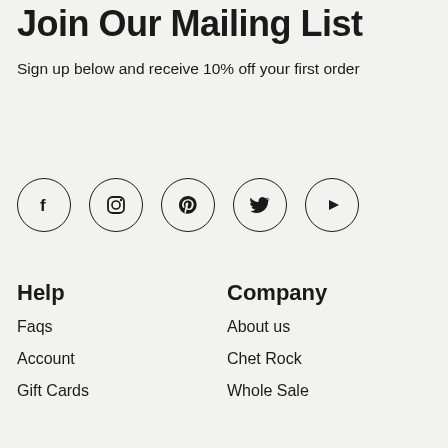Join Our Mailing List
Sign up below and receive 10% off your first order
[Figure (infographic): Row of five social media icons in circles: Facebook, Instagram, Pinterest, Twitter, YouTube/Play]
Help
Company
Faqs
About us
Account
Chet Rock
Gift Cards
Whole Sale